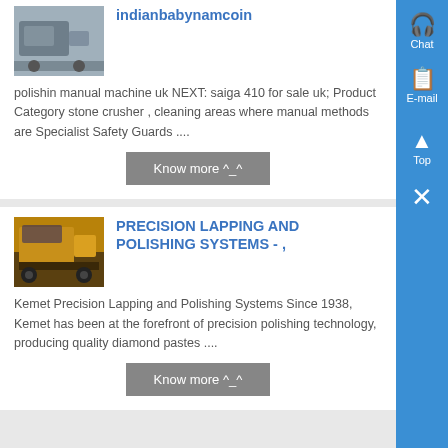indianbabynamcoin
polishin manual machine uk NEXT: saiga 410 for sale uk; Product Category stone crusher , cleaning areas where manual methods are Specialist Safety Guards ....
Know more ^_^
[Figure (photo): Thumbnail image of machinery/equipment]
PRECISION LAPPING AND POLISHING SYSTEMS - ,
Kemet Precision Lapping and Polishing Systems Since 1938, Kemet has been at the forefront of precision polishing technology, producing quality diamond pastes ....
Know more ^_^
[Figure (photo): Thumbnail image of yellow industrial machinery/bulldozer]